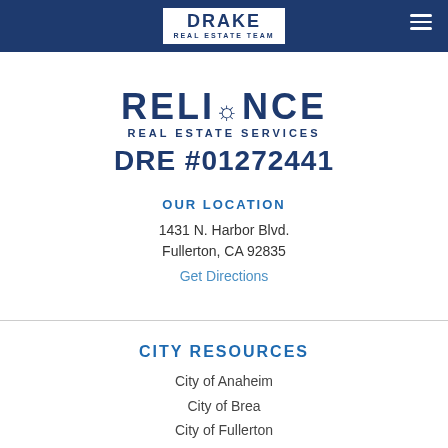Drake Real Estate Team
RELIANCE
REAL ESTATE SERVICES
DRE #01272441
OUR LOCATION
1431 N. Harbor Blvd.
Fullerton, CA 92835
Get Directions
CITY RESOURCES
City of Anaheim
City of Brea
City of Fullerton
City of Placentia
View all resources